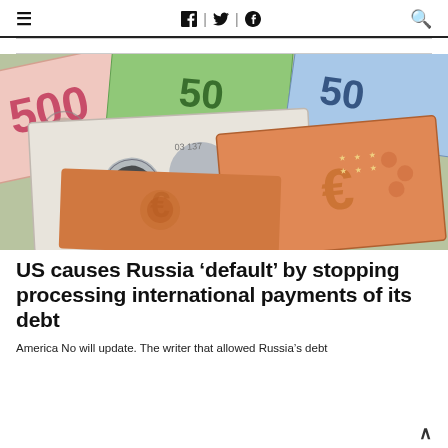≡  🖫 | 🐦 | 𝗣  🔍
[Figure (photo): Fan of various banknotes including Russian rubles (500 note visible), Czech koruna, and Euro notes spread out on a surface.]
US causes Russia 'default' by stopping processing international payments of its debt
America No will update. The writer that allowed Russia's debt